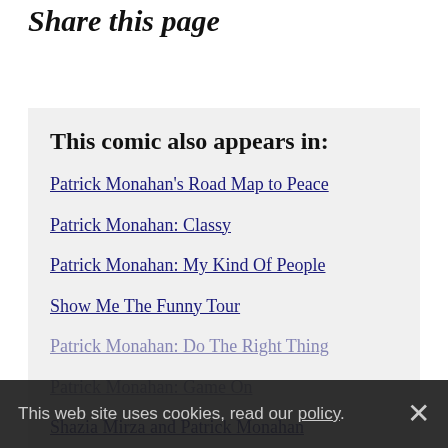Share this page
This comic also appears in:
Patrick Monahan's Road Map to Peace
Patrick Monahan: Classy
Patrick Monahan: My Kind Of People
Show Me The Funny Tour
Patrick Monahan: Do The Right Thing
Patrick Monahan: Game On
Shazia Mirza and Patrick Monahan
This web site uses cookies, read our policy.